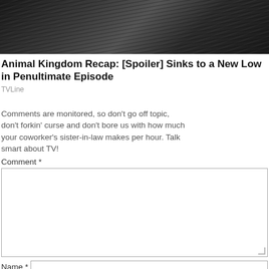[Figure (photo): Dark photo showing hair/figure of a person against a dark background]
Animal Kingdom Recap: [Spoiler] Sinks to a New Low in Penultimate Episode
TVLine
Comments are monitored, so don't go off topic, don't forkin' curse and don't bore us with how much your coworker's sister-in-law makes per hour. Talk smart about TV!
Comment *
Name *